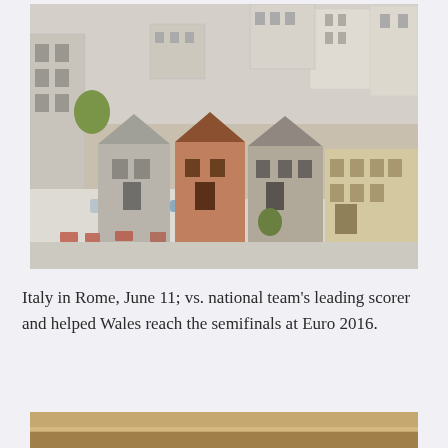[Figure (photo): Aerial view of a dense urban neighborhood with mixed residential and commercial buildings, rooftops visible, some Victorian-style houses in center, taken from above at an angle.]
Italy in Rome, June 11; vs. national team's leading scorer and helped Wales reach the semifinals at Euro 2016.
[Figure (photo): Partial view of a landscape or outdoor scene, bottom portion of page, warm tones.]